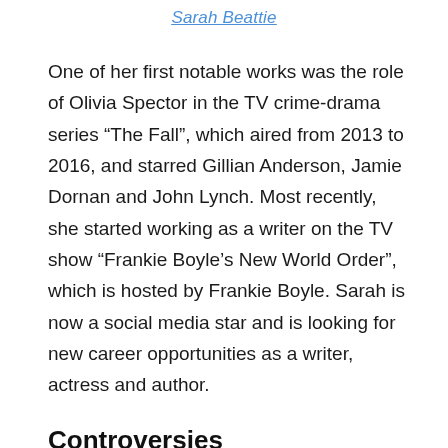Sarah Beattie
One of her first notable works was the role of Olivia Spector in the TV crime-drama series “The Fall”, which aired from 2013 to 2016, and starred Gillian Anderson, Jamie Dornan and John Lynch. Most recently, she started working as a writer on the TV show “Frankie Boyle’s New World Order”, which is hosted by Frankie Boyle. Sarah is now a social media star and is looking for new career opportunities as a writer, actress and author.
Controversies